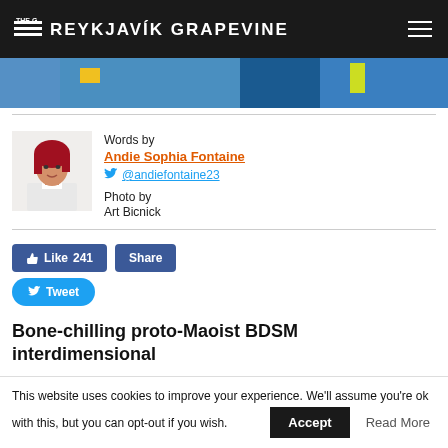THE REYKJAVÍK GRAPEVINE
[Figure (photo): Partial photo of people in blue sportswear/tracksuits]
Words by
Andie Sophia Fontaine
@andiefontaine23
Photo by
Art Bicnick
Like 241   Share   Tweet
Bone-chilling proto-Maoist BDSM interdimensional
This website uses cookies to improve your experience. We'll assume you're ok with this, but you can opt-out if you wish.